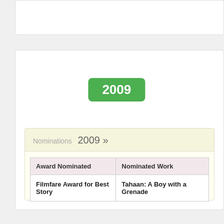2009
Nominations 2009 »
| Award Nominated | Nominated Work |
| --- | --- |
| Filmfare Award for Best Story | Tahaan: A Boy with a Grenade |